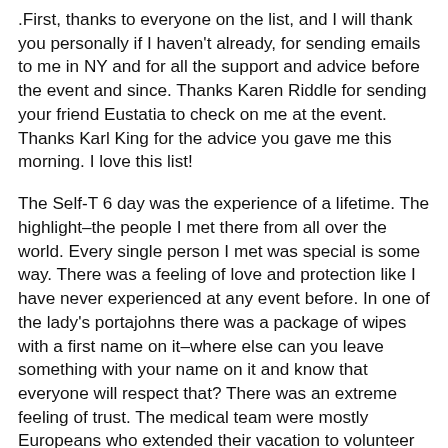.First, thanks to everyone on the list, and I will thank you personally if I haven't already, for sending emails to me in NY and for all the support and advice before the event and since. Thanks Karen Riddle for sending your friend Eustatia to check on me at the event. Thanks Karl King for the advice you gave me this morning. I love this list!
The Self-T 6 day was the experience of a lifetime. The highlight–the people I met there from all over the world. Every single person I met was special is some way. There was a feeling of love and protection like I have never experienced at any event before. In one of the lady's portajohns there was a package of wipes with a first name on it–where else can you leave something with your name on it and know that everyone will respect that? There was an extreme feeling of trust. The medical team were mostly Europeans who extended their vacation to volunteer their time at the event. I got scolded on the second day for not coming to the medical tent sooner. They did everything they possibly could for you and more, all with warmth and love.
The next line was cut off at the bottom of the page.